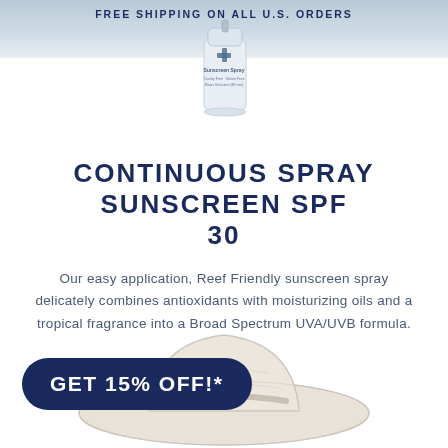FREE SHIPPING ON ALL U.S. ORDERS
[Figure (photo): White cylindrical sunscreen spray bottle product shot against light blue background]
CONTINUOUS SPRAY SUNSCREEN SPF 30
Our easy application, Reef Friendly sunscreen spray delicately combines antioxidants with moisturizing oils and a tropical fragrance into a Broad Spectrum UVA/UVB formula.
[Figure (photo): Cream/white colored sun hat photographed from slightly above on white background]
GET 15% OFF!*